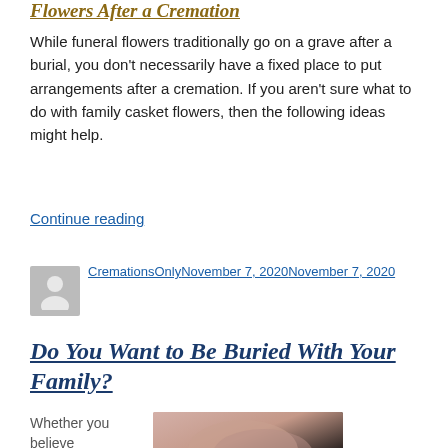Flowers After a Cremation
While funeral flowers traditionally go on a grave after a burial, you don’t necessarily have a fixed place to put arrangements after a cremation. If you aren’t sure what to do with family casket flowers, then the following ideas might help.
Continue reading
CremationsOnly November 7, 2020 November 7, 2020
Do You Want to Be Buried With Your Family?
Whether you believe
[Figure (photo): Close-up photo of two hands clasped together against a dark background]